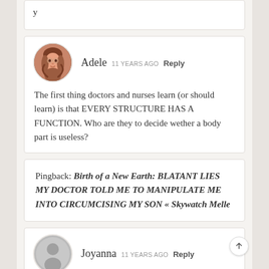(partial previous comment, clipped at top)
Adele  11 YEARS AGO  Reply
The first thing doctors and nurses learn (or should learn) is that EVERY STRUCTURE HAS A FUNCTION. Who are they to decide wether a body part is useless?
Pingback: Birth of a New Earth: BLATANT LIES MY DOCTOR TOLD ME TO MANIPULATE ME INTO CIRCUMCISING MY SON « Skywatch Melle
Joyanna  11 YEARS AGO  Reply
Hi Dawn,

Thanks for sharing your story. I've a 10 month old son who is uncircumcised as I had read horror stories from both sides and decided that not to do